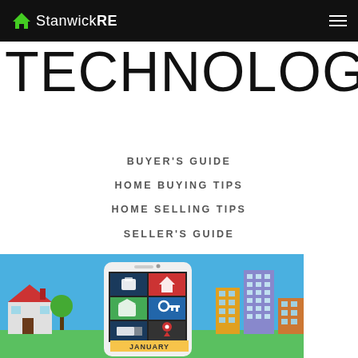StanwickRE
TECHNOLOGY
BUYER'S GUIDE
HOME BUYING TIPS
HOME SELLING TIPS
SELLER'S GUIDE
[Figure (illustration): Illustration of a smartphone with real estate app icons showing a house, briefcase, key, and map pin, surrounded by colorful illustrated buildings and houses on a blue background. Text at bottom reads JANUARY.]